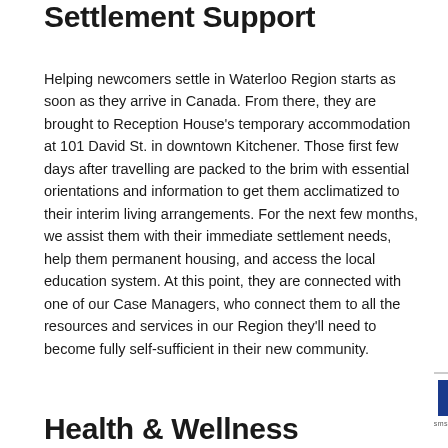Settlement Support
Helping newcomers settle in Waterloo Region starts as soon as they arrive in Canada. From there, they are brought to Reception House's temporary accommodation at 101 David St. in downtown Kitchener. Those first few days after travelling are packed to the brim with essential orientations and information to get them acclimatized to their interim living arrangements. For the next few months, we assist them with their immediate settlement needs, help them permanent housing, and access the local education system. At this point, they are connected with one of our Case Managers, who connect them to all the resources and services in our Region they'll need to become fully self-sufficient in their new community.
Health & Wellness